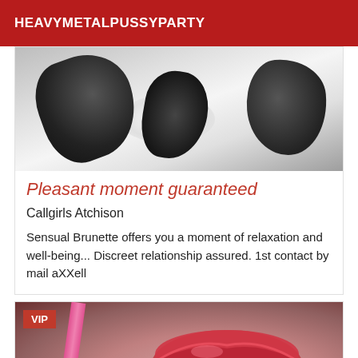HEAVYMETALPUSSYPARTY
[Figure (photo): Dark gloves or hands on a light surface, black and white style photo]
Pleasant moment guaranteed
Callgirls Atchison
Sensual Brunette offers you a moment of relaxation and well-being... Discreet relationship assured. 1st contact by mail aXXell
[Figure (photo): Close-up photo of a woman's lips with red lipstick, pink clothing strap visible, VIP badge overlay]